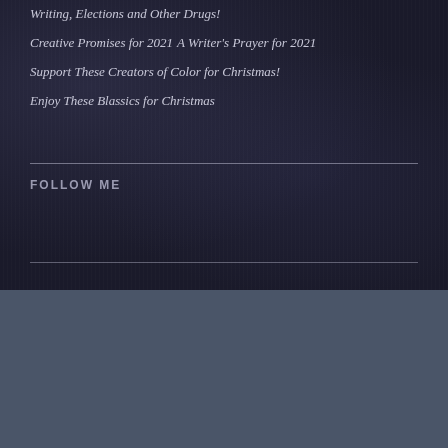Writing, Elections and Other Drugs!
Creative Promises for 2021
A Writer's Prayer for 2021
Support These Creators of Color for Christmas!
Enjoy These Blassics for Christmas
FOLLOW ME
HOME
Home